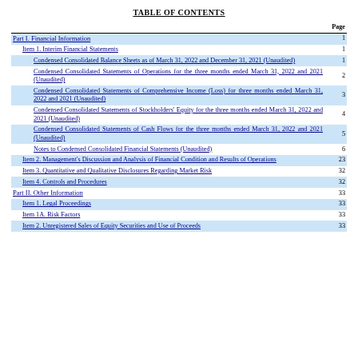TABLE OF CONTENTS
|  | Page |
| --- | --- |
| Part I. Financial Information | 1 |
| Item 1. Interim Financial Statements | 1 |
| Condensed Consolidated Balance Sheets as of March 31, 2022 and December 31, 2021 (Unaudited) | 1 |
| Condensed Consolidated Statements of Operations for the three months ended March 31, 2022 and 2021 (Unaudited) | 2 |
| Condensed Consolidated Statements of Comprehensive Income (Loss) for three months ended March 31, 2022 and 2021 (Unaudited) | 3 |
| Condensed Consolidated Statements of Stockholders' Equity for the three months ended March 31, 2022 and 2021 (Unaudited) | 4 |
| Condensed Consolidated Statements of Cash Flows for the three months ended March 31, 2022 and 2021 (Unaudited) | 5 |
| Notes to Condensed Consolidated Financial Statements (Unaudited) | 6 |
| Item 2. Management's Discussion and Analysis of Financial Condition and Results of Operations | 23 |
| Item 3. Quantitative and Qualitative Disclosures Regarding Market Risk | 32 |
| Item 4. Controls and Procedures | 32 |
| Part II. Other Information | 33 |
| Item 1. Legal Proceedings | 33 |
| Item 1A. Risk Factors | 33 |
| Item 2. Unregistered Sales of Equity Securities and Use of Proceeds | 33 |